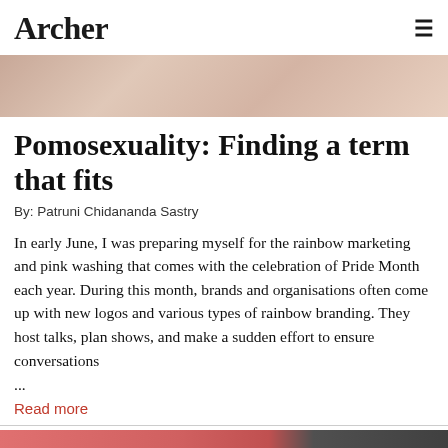Archer
[Figure (photo): Cropped photo showing a person wearing white clothing, partial view of face/neck area]
Pomosexuality: Finding a term that fits
By: Patruni Chidananda Sastry
In early June, I was preparing myself for the rainbow marketing and pink washing that comes with the celebration of Pride Month each year. During this month, brands and organisations often come up with new logos and various types of rainbow branding. They host talks, plan shows, and make a sudden effort to ensure conversations ...
Read more